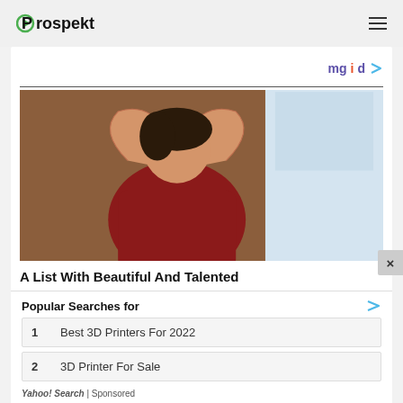Prospekt
[Figure (logo): Prospekt logo with green circle/arrow and black text]
[Figure (photo): Woman in red top styling her hair, indoor warm-toned background]
A List With Beautiful And Talented
mgid
Popular Searches for
1  Best 3D Printers For 2022
2  3D Printer For Sale
Yahoo! Search | Sponsored